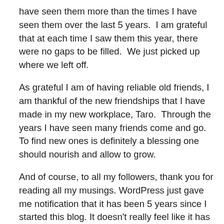have seen them more than the times I have seen them over the last 5 years.  I am grateful that at each time I saw them this year, there were no gaps to be filled.  We just picked up where we left off.
As grateful I am of having reliable old friends, I am thankful of the new friendships that I have made in my new workplace, Taro.  Through the years I have seen many friends come and go.  To find new ones is definitely a blessing one should nourish and allow to grow.
And of course, to all my followers, thank you for reading all my musings. WordPress just gave me notification that it has been 5 years since I started this blog. It doesn't really feel like it has been 5 years.  It is such an amazing thought that we sustained the life of this blog.   It helps me do more knowing you are still there following.